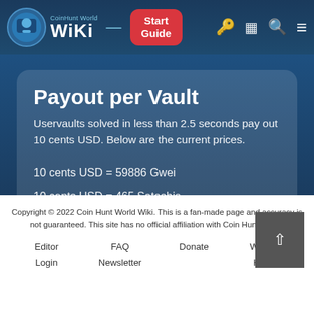CoinHunt World WIKI — Start Guide
Payout per Vault
Uservaults solved in less than 2.5 seconds pay out 10 cents USD. Below are the current prices.
10 cents USD = 59886 Gwei
10 cents USD = 465 Satoshis
Copyright © 2022 Coin Hunt World Wiki. This is a fan-made page and accuracy is not guaranteed. This site has no official affiliation with Coin Hunt World.
Editor Login | FAQ | Newsletter | Donate | Wiki Edit History